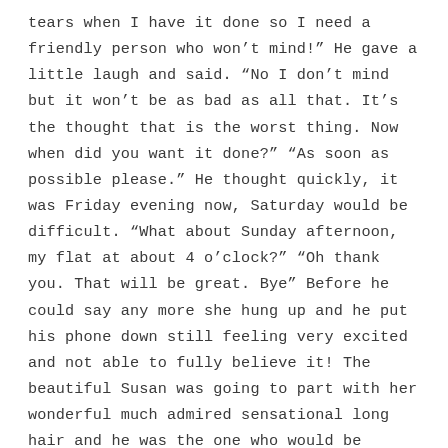tears when I have it done so I need a friendly person who won't mind!" He gave a little laugh and said. "No I don't mind but it won't be as bad as all that. It's the thought that is the worst thing. Now when did you want it done?" "As soon as possible please." He thought quickly, it was Friday evening now, Saturday would be difficult. "What about Sunday afternoon, my flat at about 4 o'clock?" "Oh thank you. That will be great. Bye" Before he could say any more she hung up and he put his phone down still feeling very excited and not able to fully believe it! The beautiful Susan was going to part with her wonderful much admired sensational long hair and he was the one who would be wielding the scissors!